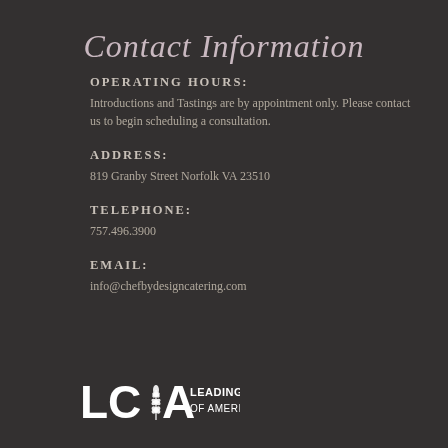Contact Information
OPERATING HOURS:
Introductions and Tastings are by appointment only. Please contact us to begin scheduling a consultation.
ADDRESS:
819 Granby Street Norfolk VA 23510
TELEPHONE:
757.496.3900
EMAIL:
info@chefbydesigncatering.com
[Figure (logo): LCA Leading Caterers of America logo with wheat symbol]